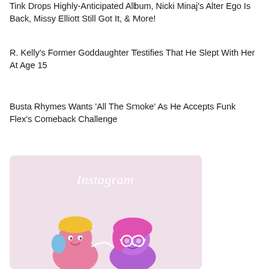Tink Drops Highly-Anticipated Album, Nicki Minaj's Alter Ego Is Back, Missy Elliott Still Got It, & More!
R. Kelly's Former Goddaughter Testifies That He Slept With Her At Age 15
Busta Rhymes Wants 'All The Smoke' As He Accepts Funk Flex's Comeback Challenge
[Figure (illustration): Instagram branded image with two cartoon 3D characters — one wearing a yellow beanie and the other with pink/purple hair and glasses — on a pink/lavender background with the Instagram wordmark at the top in white italic script.]